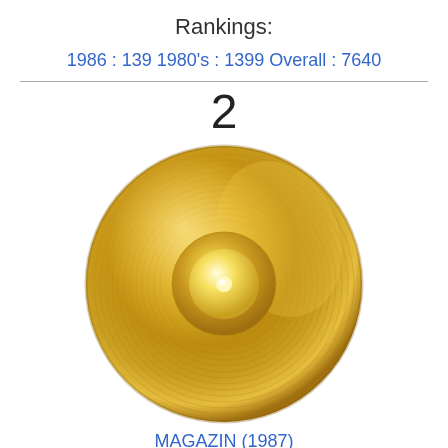Rankings:
1986 : 139   1980's : 1399   Overall : 7640
2
[Figure (illustration): A gold vinyl record / LP disc with reflective gold surface, concentric grooves, and a raised center hub with a small bright highlight. The disc is rendered in warm golden tones with lighter highlights suggesting a metallic sheen.]
MAGAZIN (1987)